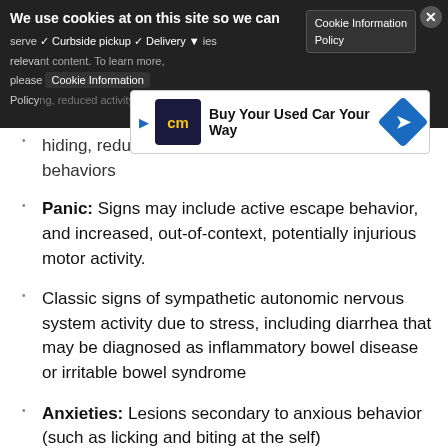We use cookies at on this site so we can serve relevant content. Please visit our Privacy Policy.
[Figure (infographic): Advertisement banner: CarMax logo with text 'Buy Your Used Car Your Way' and blue diamond navigation icon]
hiding, reduced activity, and passive escape behaviors
Panic: Signs may include active escape behavior, and increased, out-of-context, potentially injurious motor activity.
Classic signs of sympathetic autonomic nervous system activity due to stress, including diarrhea that may be diagnosed as inflammatory bowel disease or irritable bowel syndrome
Anxieties: Lesions secondary to anxious behavior (such as licking and biting at the self)
Causes
Any illness or painful physical condition increases anxiety and contributes to the development of fears